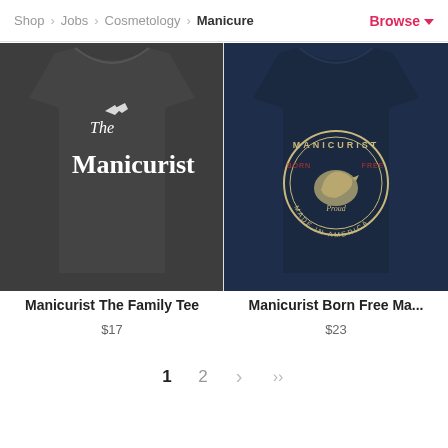Shop > Jobs > Cosmetology > Manicure   Browse
[Figure (photo): Dark charcoal t-shirt with white text reading 'The Manicurist' in Godfather-style font with decorative elements]
Manicurist The Family Tee
$17
[Figure (photo): Navy blue t-shirt with circular badge design reading 'MANICURIST' with eagle graphic, 'BORN FREE' and 'MADE IN AMERICA']
Manicurist Born Free Ma...
$23
1  2  >  >>